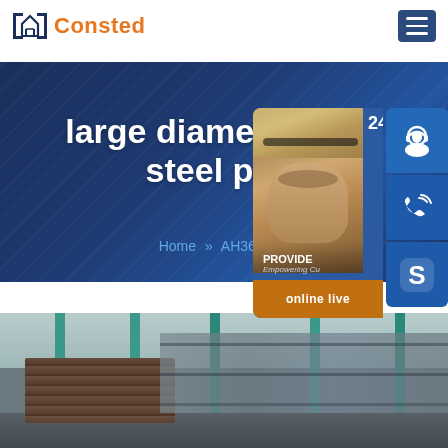Consted
large diameter welded steel pipe
Home >> AH36 steel
[Figure (photo): Customer service representative with headset, chat widget showing 24/7 support with headset icon, phone icon, Skype icon, and online live button. Text: 24/7, PROVIDE, Empowering Cu, online live]
[Figure (photo): Warehouse interior showing stacked steel plates on the left and teal-colored industrial shelving/racking structures in background]